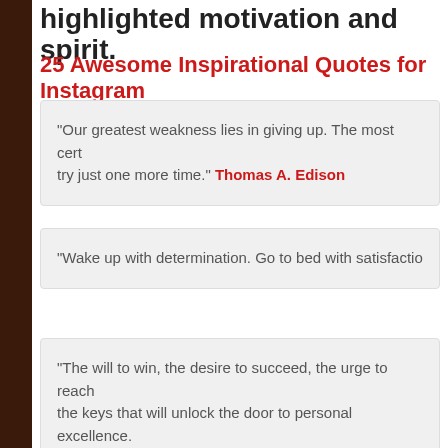highlighted motivation and spirit.
25 Awesome Inspirational Quotes for Instagram
“Our greatest weakness lies in giving up. The most cert… try just one more time.” Thomas A. Edison
“Wake up with determination. Go to bed with satisfactio…
“The will to win, the desire to succeed, the urge to reach… the keys that will unlock the door to personal excellence.